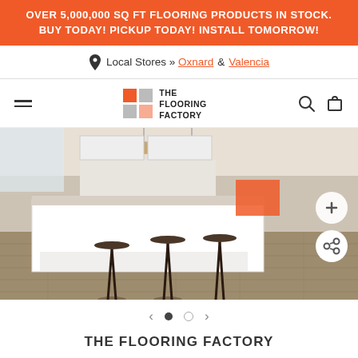OVER 5,000,000 SQ FT FLOORING PRODUCTS IN STOCK. BUY TODAY! PICKUP TODAY! INSTALL TOMORROW!
Local Stores » Oxnard & Valencia
[Figure (logo): The Flooring Factory logo with orange and gray grid squares and bold text]
[Figure (photo): A wide kitchen interior with wood-look flooring, white kitchen island with bar stools, dining area, and an orange artwork on the wall. Two circular action buttons (plus and share) visible on the right side.]
← • ○ →
THE FLOORING FACTORY